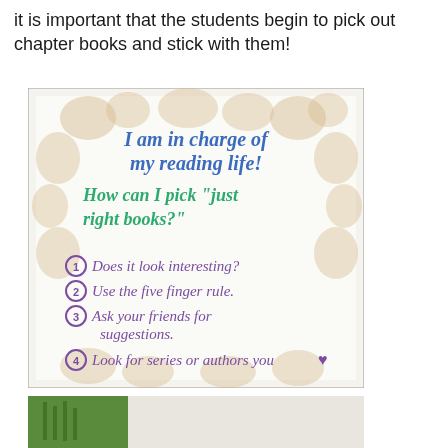it is important that the students begin to pick out chapter books and stick with them!
[Figure (photo): Anchor chart on white paper with decorative cloud/bubble border. Title in blue handwriting: 'I am in charge of my reading life!' Subtitle in teal/green handwriting: 'How can I pick "just right books?"' Followed by purple handwritten numbered list: 1) Does it look interesting? 2) Use the five finger rule. 3) Ask your friends for suggestions. 4) Look for series or authors you (heart).]
[Figure (photo): Partially visible bottom photo showing what appears to be a classroom bulletin board or book display with green and white elements.]